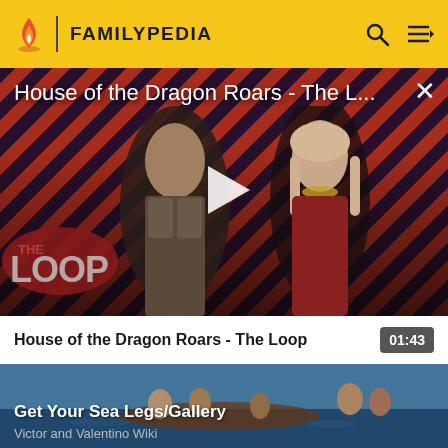FAMILYPEDIA
[Figure (screenshot): Video player showing House of the Dragon Roars - The Loop with red and purple diagonal stripe background and characters from the show, with THE LOOP logo overlay and a play button in the center]
House of the Dragon Roars - The Loop
01:43
[Figure (screenshot): Thumbnail for Get Your Sea Legs/Gallery from Victor and Valentino Wiki showing animated characters in water]
Get Your Sea Legs/Gallery
Victor and Valentino Wiki